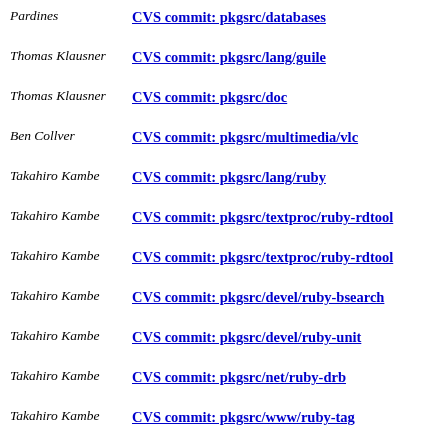Pardines | CVS commit: pkgsrc/databases
Thomas Klausner | CVS commit: pkgsrc/lang/guile
Thomas Klausner | CVS commit: pkgsrc/doc
Ben Collver | CVS commit: pkgsrc/multimedia/vlc
Takahiro Kambe | CVS commit: pkgsrc/lang/ruby
Takahiro Kambe | CVS commit: pkgsrc/textproc/ruby-rdtool
Takahiro Kambe | CVS commit: pkgsrc/textproc/ruby-rdtool
Takahiro Kambe | CVS commit: pkgsrc/devel/ruby-bsearch
Takahiro Kambe | CVS commit: pkgsrc/devel/ruby-unit
Takahiro Kambe | CVS commit: pkgsrc/net/ruby-drb
Takahiro Kambe | CVS commit: pkgsrc/www/ruby-tag
Adam Ciarcinski | CVS commit: pkgsrc/devel/pwlib